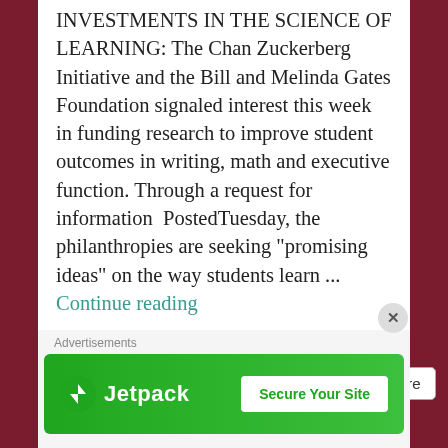INVESTMENTS IN THE SCIENCE OF LEARNING: The Chan Zuckerberg Initiative and the Bill and Melinda Gates Foundation signaled interest this week in funding research to improve student outcomes in writing, math and executive function. Through a request for information PostedTuesday, the philanthropies are seeking "promising ideas" on the way students learn ... Continue reading
Share this:
[Figure (other): Share buttons row: Tweet (blue), Email, Print, More]
[Figure (other): Jetpack advertisement banner: Jetpack logo and Secure Your Site button on green background]